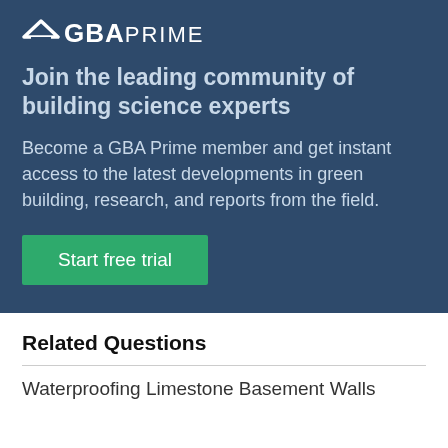[Figure (logo): GBA Prime logo with house roof icon above 'GBA' in bold and 'PRIME' in regular weight, white on dark blue background]
Join the leading community of building science experts
Become a GBA Prime member and get instant access to the latest developments in green building, research, and reports from the field.
Start free trial
Related Questions
Waterproofing Limestone Basement Walls